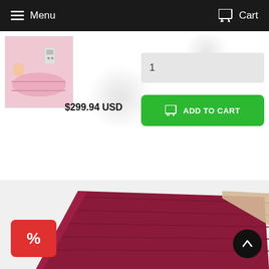Menu  Cart
[Figure (photo): Product thumbnail showing a pink sauna blanket with a person lying on it and a remote control]
1
$299.94 USD
ADD TO CART
[Figure (photo): Dark red / maroon sauna blanket mat laid flat, showing quilted surface and beige inner lining visible at one corner]
%
[Figure (other): Back to top arrow button (circular black button with white upward arrow)]